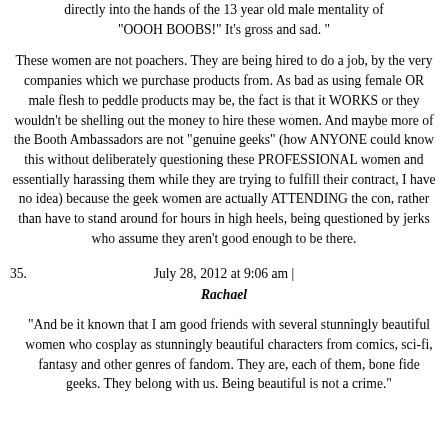directly into the hands of the 13 year old male mentality of "OOOH BOOBS!" It's gross and sad. "
These women are not poachers. They are being hired to do a job, by the very companies which we purchase products from. As bad as using female OR male flesh to peddle products may be, the fact is that it WORKS or they wouldn't be shelling out the money to hire these women. And maybe more of the Booth Ambassadors are not "genuine geeks" (how ANYONE could know this without deliberately questioning these PROFESSIONAL women and essentially harassing them while they are trying to fulfill their contract, I have no idea) because the geek women are actually ATTENDING the con, rather than have to stand around for hours in high heels, being questioned by jerks who assume they aren't good enough to be there.
July 28, 2012 at 9:06 am |
Rachael
"And be it known that I am good friends with several stunningly beautiful women who cosplay as stunningly beautiful characters from comics, sci-fi, fantasy and other genres of fandom. They are, each of them, bone fide geeks. They belong with us. Being beautiful is not a crime."